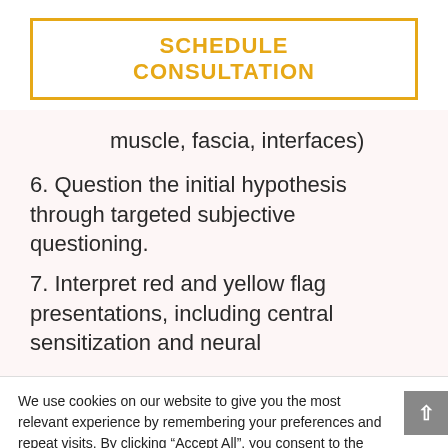[Figure (other): Schedule Consultation button with orange/yellow border and text]
muscle, fascia, interfaces)
6. Question the initial hypothesis through targeted subjective questioning.
7. Interpret red and yellow flag presentations, including central sensitization and neural
We use cookies on our website to give you the most relevant experience by remembering your preferences and repeat visits. By clicking “Accept All”, you consent to the use of ALL the cookies. However, you may visit "Cookie Settings" to provide a controlled consent.
Cookie Settings | Accept All